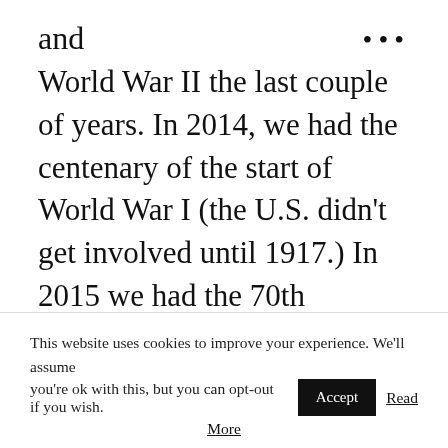and
World War II the last couple of years. In 2014, we had the centenary of the start of World War I (the U.S. didn't get involved until 1917.) In 2015 we had the 70th anniversary of the end of World War II. With the centenary of World War I, many courses, trips, memorials, and programs have been developed and are on-
This website uses cookies to improve your experience. We'll assume you're ok with this, but you can opt-out if you wish. Accept Read More